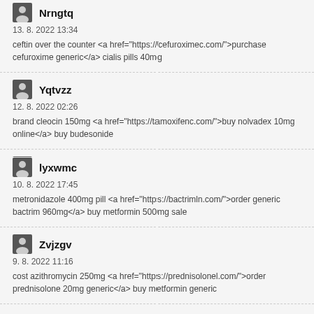Nrngtq
13. 8. 2022 13:34
ceftin over the counter <a href="https://cefuroximec.com/">purchase cefuroxime generic</a> cialis pills 40mg
Yqtvzz
12. 8. 2022 02:26
brand cleocin 150mg <a href="https://tamoxifenc.com/">buy nolvadex 10mg online</a> buy budesonide
lyxwmc
10. 8. 2022 17:45
metronidazole 400mg pill <a href="https://bactrimln.com/">order generic bactrim 960mg</a> buy metformin 500mg sale
Zvjzgv
9. 8. 2022 11:16
cost azithromycin 250mg <a href="https://prednisolonel.com/">order prednisolone 20mg generic</a> buy metformin generic